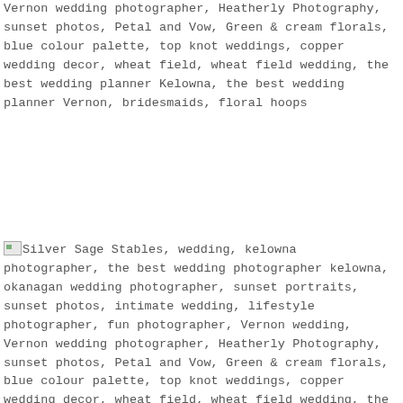Vernon wedding photographer, Heatherly Photography, sunset photos, Petal and Vow, Green & cream florals, blue colour palette, top knot weddings, copper wedding decor, wheat field, wheat field wedding, the best wedding planner Kelowna, the best wedding planner Vernon, bridesmaids, floral hoops
[Figure (photo): Broken image icon for Silver Sage Stables wedding photo]
Silver Sage Stables, wedding, kelowna photographer, the best wedding photographer kelowna, okanagan wedding photographer, sunset portraits, sunset photos, intimate wedding, lifestyle photographer, fun photographer, Vernon wedding, Vernon wedding photographer, Heatherly Photography, sunset photos, Petal and Vow, Green & cream florals, blue colour palette, top knot weddings, copper wedding decor, wheat field, wheat field wedding, the best wedding planner Kelowna, the best wedding planner Vernon, bridesmaids, floral hoops